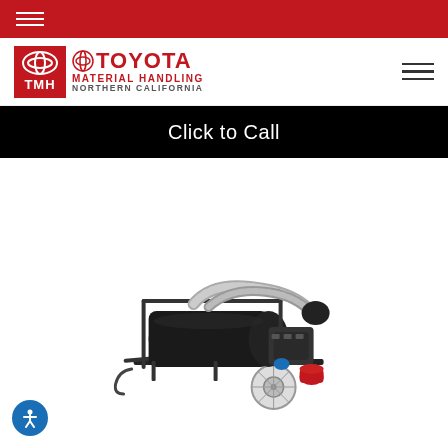Toyota Material Handling Northern California - navigation header with hamburger menu
Click to Call
[Figure (photo): Industrial trailer-mounted vacuum/heating equipment with black tank, silver duct hoses, red components, and single white wheel on a small trailer chassis]